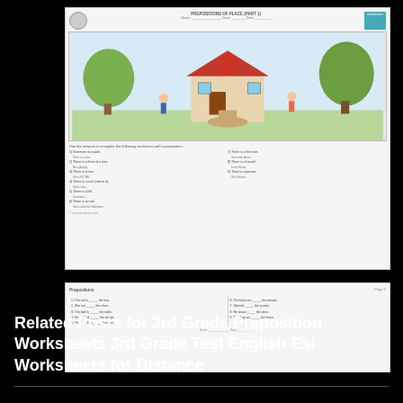[Figure (illustration): Thumbnail of a 3rd grade preposition worksheet showing a scene with children and trees, with numbered questions and answer blanks below the image]
[Figure (screenshot): Thumbnail of a second worksheet showing a two-column table/list format with text items on the left and right]
Related Posts for 3rd Grade Preposition Worksheets 3rd Grade Test English Esl Worksheets for Distance